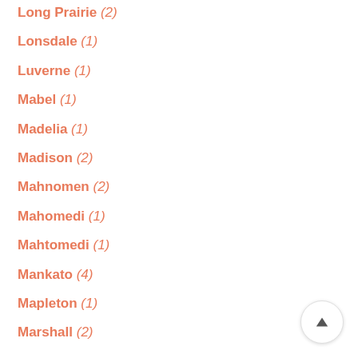Long Prairie (2)
Lonsdale (1)
Luverne (1)
Mabel (1)
Madelia (1)
Madison (2)
Mahnomen (2)
Mahomedi (1)
Mahtomedi (1)
Mankato (4)
Mapleton (1)
Marshall (2)